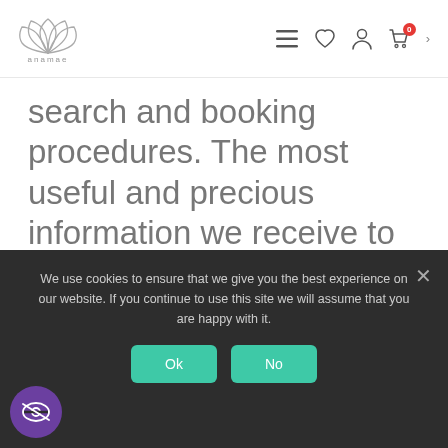[Figure (logo): Anamae logo: stylized leaf/lotus icon above the text 'anamae' in grey]
search and booking procedures. The most useful and precious information we receive to that end comes from Analytics Cookies which allow us to anonymously see how visitors to our website are acting, and recording the content they see and what they are
We use cookies to ensure that we give you the best experience on our website. If you continue to use this site we will assume that you are happy with it.